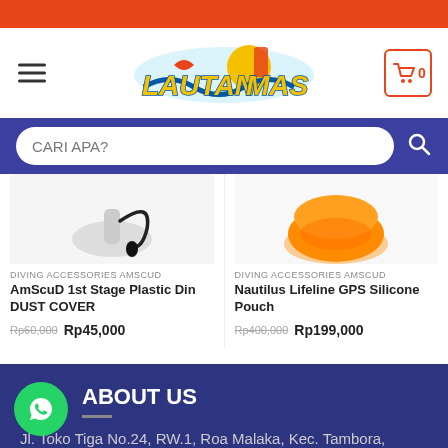[Figure (screenshot): Orange top bar of e-commerce website]
[Figure (logo): LautanMas diving shop logo with wave and sun graphic]
CARI APA?
DIVING ACCESSORIES AMSCUD
AmScuD 1st Stage Plastic Din DUST COVER
Rp60,000  Rp45,000
DIVING ACCESSORIES AMSCUD
Nautilus Lifeline GPS Silicone Pouch
Rp400,000  Rp199,000
ABOUT US
Jl. Toko Tiga No.24, RW.1, Roa Malaka, Kec. Tambora,